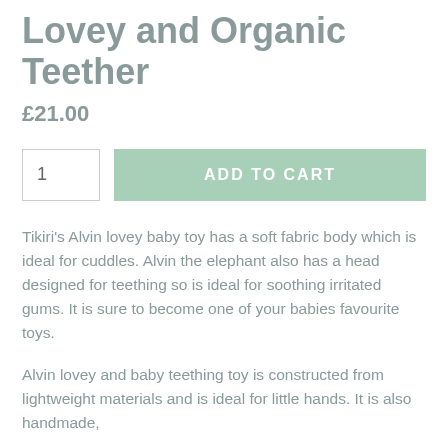Lovey and Organic Teether
£21.00
1   ADD TO CART
Tikiri's Alvin lovey baby toy has a soft fabric body which is ideal for cuddles. Alvin the elephant also has a head designed for teething so is ideal for soothing irritated gums. It is sure to become one of your babies favourite toys.
Alvin lovey and baby teething toy is constructed from lightweight materials and is ideal for little hands. It is also handmade,